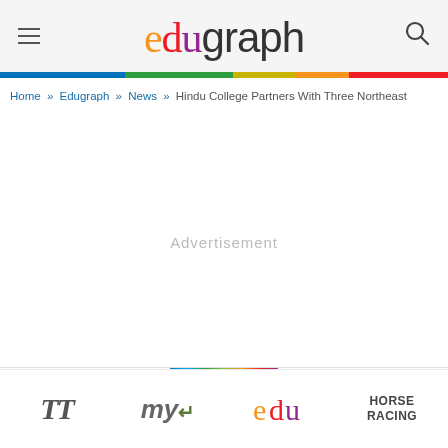edugraph — navigation header with logo, hamburger menu and search icon
Home » Edugraph » News » Hindu College Partners With Three Northeast
Advertisement
TT | My | edu | HORSE RACING — bottom navigation bar